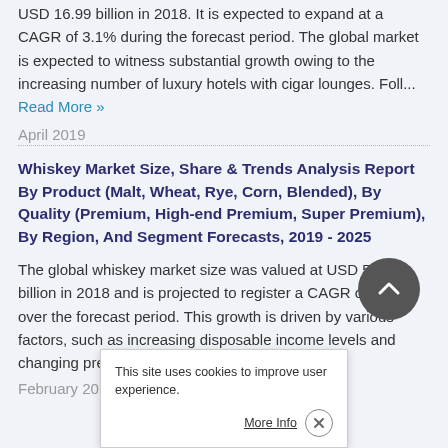USD 16.99 billion in 2018. It is expected to expand at a CAGR of 3.1% during the forecast period. The global market is expected to witness substantial growth owing to the increasing number of luxury hotels with cigar lounges. Foll... Read More »
April 2019
Whiskey Market Size, Share & Trends Analysis Report By Product (Malt, Wheat, Rye, Corn, Blended), By Quality (Premium, High-end Premium, Super Premium), By Region, And Segment Forecasts, 2019 - 2025
The global whiskey market size was valued at USD 57.96 billion in 2018 and is projected to register a CAGR of 6.4% over the forecast period. This growth is driven by various factors, such as increasing disposable income levels and changing preferences. The millenn...
February 2019